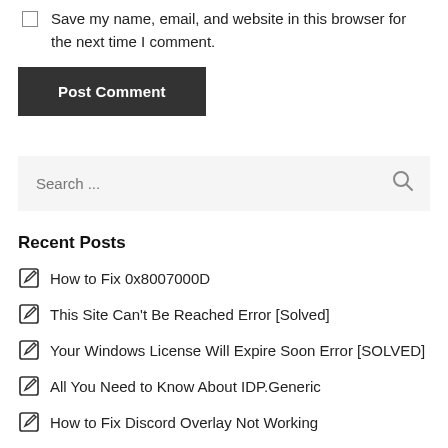Save my name, email, and website in this browser for the next time I comment.
Post Comment
Search ...
Recent Posts
How to Fix 0x8007000D
This Site Can't Be Reached Error [Solved]
Your Windows License Will Expire Soon Error [SOLVED]
All You Need to Know About IDP.Generic
How to Fix Discord Overlay Not Working